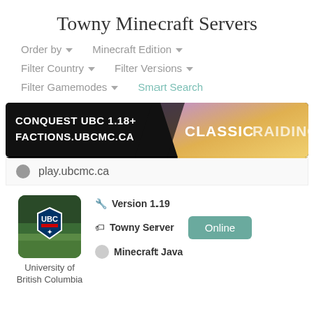Towny Minecraft Servers
Order by ▾   Minecraft Edition ▾
Filter Country ▾   Filter Versions ▾
Filter Gamemodes ▾   Smart Search
[Figure (illustration): Banner ad for Conquest UBC 1.18+ Factions server at FACTIONS.UBCMC.CA showing 'CLASSIC RAIDING' text on a dark background with purple/gold gradient]
play.ubcmc.ca
[Figure (illustration): UBC Minecraft server icon showing UBC shield logo with jungle/forest Minecraft background]
University of
British Columbia
🔧 Version 1.19
🏷 Towny Server
Online
🌐 Minecraft Java